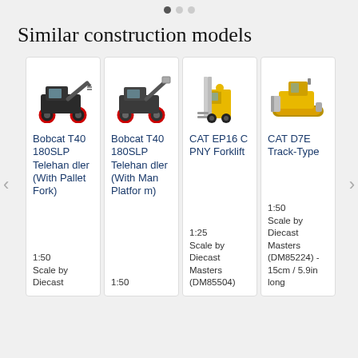Similar construction models
[Figure (photo): Bobcat T40 180SLP Telehandler (With Pallet Fork) product photo - black construction vehicle model]
Bobcat T40 180SLP Telehandler (With Pallet Fork)
1:50
Scale by Diecast
[Figure (photo): Bobcat T40 180SLP Telehandler (With Man Platform) product photo - black construction vehicle model]
Bobcat T40 180SLP Telehandler (With Man Platform)
1:50
[Figure (photo): CAT EP16 C PNY Forklift product photo - yellow forklift model]
CAT EP16 C PNY Forklift
1:25 Scale by Diecast Masters (DM85504)
[Figure (photo): CAT D7E Track-Type product photo - yellow bulldozer model]
CAT D7E Track-Type
1:50 Scale by Diecast Masters (DM85224) - 15cm / 5.9in long